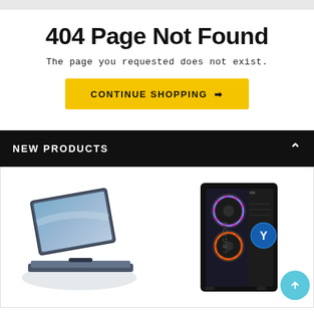404 Page Not Found
The page you requested does not exist.
CONTINUE SHOPPING →
NEW PRODUCTS
[Figure (photo): Laptop computer (left) and gaming PC tower with RGB fans (right) shown as product listings below the 404 error page]
[Figure (other): Scroll-to-top button (cyan circle with upward chevron arrow)]